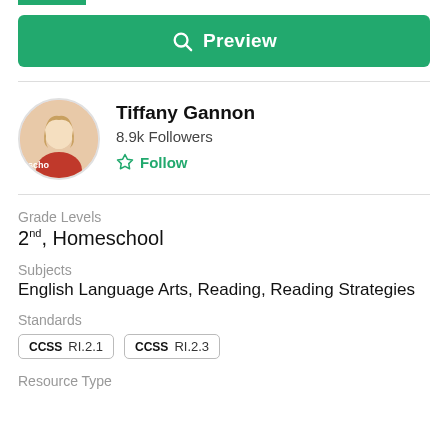[Figure (other): Green Preview button with magnifying glass icon]
[Figure (photo): Circular profile photo of Tiffany Gannon, a woman with blonde hair wearing red]
Tiffany Gannon
8.9k Followers
Follow
Grade Levels
2nd, Homeschool
Subjects
English Language Arts, Reading, Reading Strategies
Standards
CCSS RI.2.1
CCSS RI.2.3
Resource Type